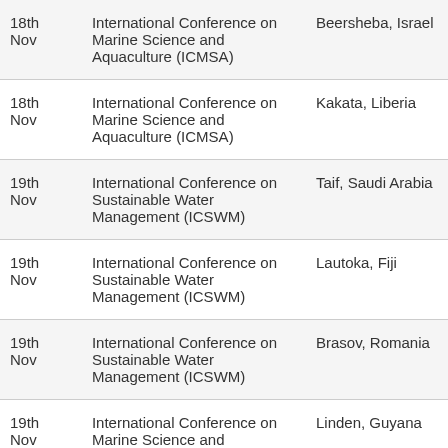| Date | Conference | Location |
| --- | --- | --- |
| 18th Nov | International Conference on Marine Science and Aquaculture (ICMSA) | Beersheba, Israel |
| 18th Nov | International Conference on Marine Science and Aquaculture (ICMSA) | Kakata, Liberia |
| 19th Nov | International Conference on Sustainable Water Management (ICSWM) | Taif, Saudi Arabia |
| 19th Nov | International Conference on Sustainable Water Management (ICSWM) | Lautoka, Fiji |
| 19th Nov | International Conference on Sustainable Water Management (ICSWM) | Brasov, Romania |
| 19th Nov | International Conference on Marine Science and Aquaculture (ICMSA) | Linden, Guyana |